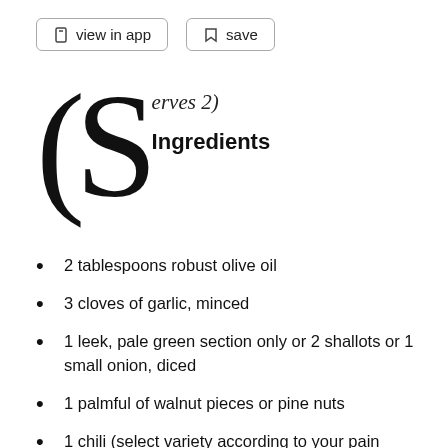view in app   save
(Serves 2)
Ingredients
2 tablespoons robust olive oil
3 cloves of garlic, minced
1 leek, pale green section only or 2 shallots or 1 small onion, diced
1 palmful of walnut pieces or pine nuts
1 chili (select variety according to your pain threshold), diced, or 1/2 teaspoon dried chili peppers